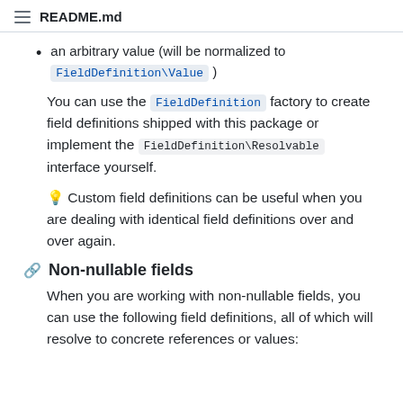README.md
an arbitrary value (will be normalized to FieldDefinition\Value )
You can use the FieldDefinition factory to create field definitions shipped with this package or implement the FieldDefinition\Resolvable interface yourself.
💡 Custom field definitions can be useful when you are dealing with identical field definitions over and over again.
Non-nullable fields
When you are working with non-nullable fields, you can use the following field definitions, all of which will resolve to concrete references or values: